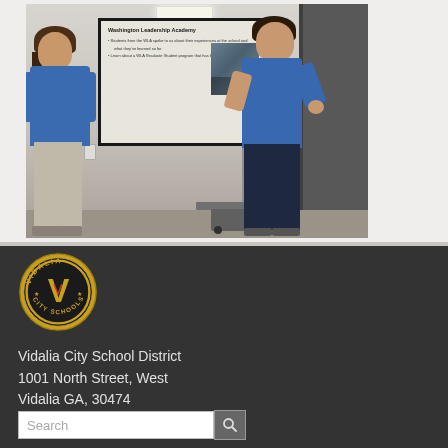[Figure (photo): Two women in blue t-shirts giving a presentation in front of a large display screen showing a slide titled 'Washington Leadership Academy'. One stands to the left facing the screen, the other stands to the right gesturing while speaking.]
[Figure (logo): Vidalia City Schools circular logo with bold V and decorative elements, gold and black color scheme]
Vidalia City School District
1001 North Street, West
Vidalia GA, 30474
(912) 537-3088
Search